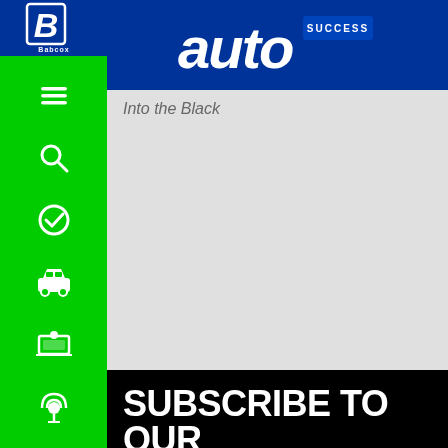[Figure (logo): Babcox Media logo with blue background and white B initial on left sidebar]
[Figure (logo): AutoSuccess magazine logo with blue background in header bar]
Into the Black
SUBSCRIBE TO OUR NEWSLETTER
Get the latest update from our eNewsletters
[Figure (other): Green Subscribe button]